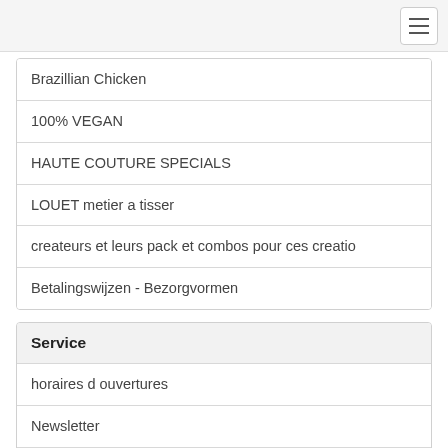Brazillian Chicken
100% VEGAN
HAUTE COUTURE SPECIALS
LOUET metier a tisser
createurs et leurs pack et combos pour ces creatio
Betalingswijzen - Bezorgvormen
Service
horaires d ouvertures
Newsletter
Livraison frais
Journées portes ouverte 2022